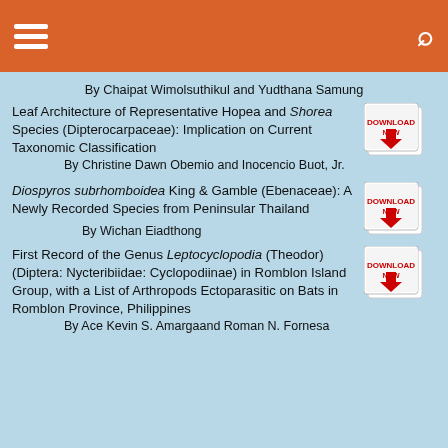By Chaipat Wimolsuthikul and Yudthana Samung
Leaf Architecture of Representative Hopea and Shorea Species (Dipterocarpaceae): Implication on Current Taxonomic Classification
By Christine Dawn Obemio and Inocencio Buot, Jr.
[Figure (other): Download button icon]
Diospyros subrhomboidea King & Gamble (Ebenaceae): A Newly Recorded Species from Peninsular Thailand
By Wichan Eiadthong
[Figure (other): Download button icon]
First Record of the Genus Leptocyclopodia (Theodor) (Diptera: Nycteribiidae: Cyclopodiinae) in Romblon Island Group, with a List of Arthropods Ectoparasitic on Bats in Romblon Province, Philippines
By Ace Kevin S. Amargaand Roman N. Fornesa
[Figure (other): Download button icon]